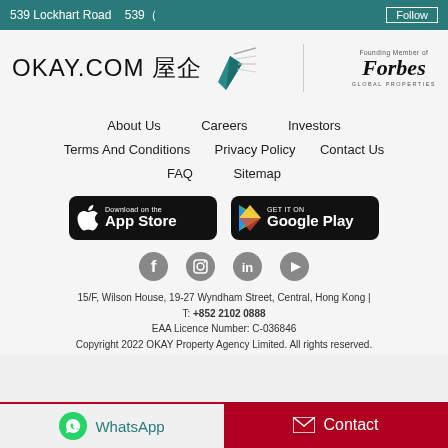539 Lockhart Road 樂嘉道539號 Follow
[Figure (logo): OKAY.COM 屋企 logo with teal diamond gem shape and speed lines, alongside Forbes Global Properties founding member logo]
About Us
Careers
Investors
Terms And Conditions
Privacy Policy
Contact Us
FAQ
Sitemap
[Figure (screenshot): Download on the App Store button (black rounded rectangle)]
[Figure (screenshot): Get it on Google Play button (black rounded rectangle)]
[Figure (infographic): Social media icons: Facebook, Instagram, LinkedIn, YouTube]
15/F, Wilson House, 19-27 Wyndham Street, Central, Hong Kong | T: +852 2102 0888 EAA Licence Number: C-036846 Copyright 2022 OKAY Property Agency Limited. All rights reserved.
WhatsApp
Contact